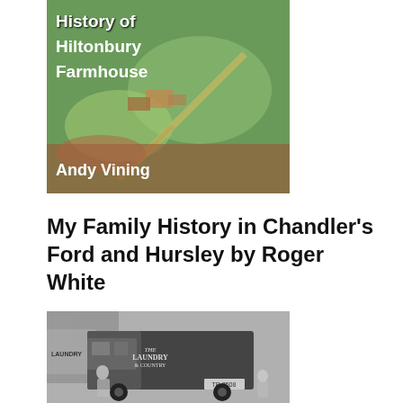[Figure (illustration): Book cover for a history of Hiltonbury Farmhouse by Andy Vining, showing an aerial view of a farm with green fields and buildings, with white text overlaid]
My Family History in Chandler's Ford and Hursley by Roger White
[Figure (photo): Black and white photograph of an old laundry delivery van with 'The Laundry & Country' text visible, with people standing near it. Registration plate TR 7508 visible.]